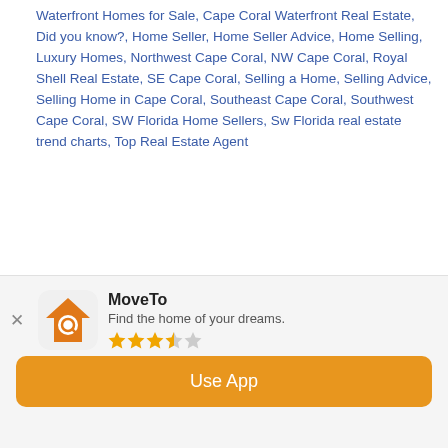Waterfront Homes for Sale, Cape Coral Waterfront Real Estate, Did you know?, Home Seller, Home Seller Advice, Home Selling, Luxury Homes, Northwest Cape Coral, NW Cape Coral, Royal Shell Real Estate, SE Cape Coral, Selling a Home, Selling Advice, Selling Home in Cape Coral, Southeast Cape Coral, Southwest Cape Coral, SW Florida Home Sellers, Sw Florida real estate trend charts, Top Real Estate Agent
Cape Coral Off Water Home Sales Real Estate Report for
Dec. 12, 2017
[Figure (screenshot): MoveTo app install banner with orange house/search icon, app name 'MoveTo', tagline 'Find the home of your dreams.', 3.5-star rating, and orange 'Use App' button]